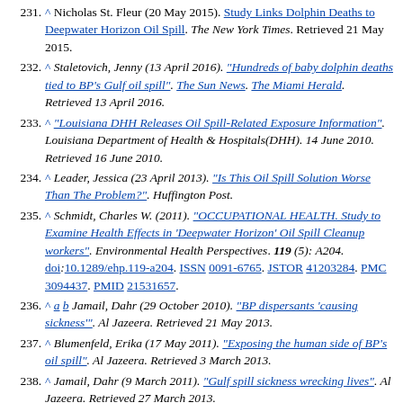231. ^ Nicholas St. Fleur (20 May 2015). Study Links Dolphin Deaths to Deepwater Horizon Oil Spill. The New York Times. Retrieved 21 May 2015.
232. ^ Staletovich, Jenny (13 April 2016). "Hundreds of baby dolphin deaths tied to BP's Gulf oil spill". The Sun News. The Miami Herald. Retrieved 13 April 2016.
233. ^ "Louisiana DHH Releases Oil Spill-Related Exposure Information". Louisiana Department of Health & Hospitals(DHH). 14 June 2010. Retrieved 16 June 2010.
234. ^ Leader, Jessica (23 April 2013). "Is This Oil Spill Solution Worse Than The Problem?". Huffington Post.
235. ^ Schmidt, Charles W. (2011). "OCCUPATIONAL HEALTH. Study to Examine Health Effects in 'Deepwater Horizon' Oil Spill Cleanup workers". Environmental Health Perspectives. 119 (5): A204. doi:10.1289/ehp.119-a204. ISSN 0091-6765. JSTOR 41203284. PMC 3094437. PMID 21531657.
236. ^ a b Jamail, Dahr (29 October 2010). "BP dispersants 'causing sickness'". Al Jazeera. Retrieved 21 May 2013.
237. ^ Blumenfeld, Erika (17 May 2011). "Exposing the human side of BP's oil spill". Al Jazeera. Retrieved 3 March 2013.
238. ^ Jamail, Dahr (9 March 2011). "Gulf spill sickness wrecking lives". Al Jazeera. Retrieved 27 March 2013.
239. ^ "BP Oil Spill Cleanup Workers Getting Sick, Exxon Valdez Survivor Warns of Long-Term Health Effects". Democracy Now. 7 July 2010. Retrieved 1 June 2012.